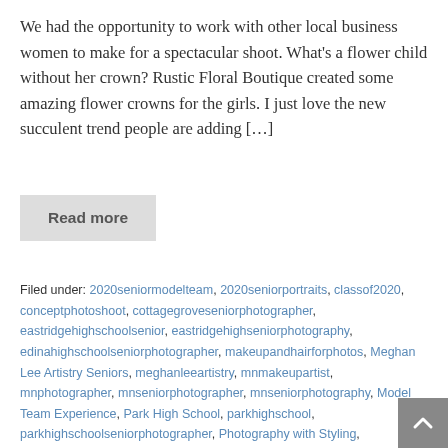We had the opportunity to work with other local business women to make for a spectacular shoot. What's a flower child without her crown? Rustic Floral Boutique created some amazing flower crowns for the girls. I just love the new succulent trend people are adding […]
Read more
Filed under: 2020seniormodelteam, 2020seniorportraits, classof2020, conceptphotoshoot, cottagegroveseniorphotographer, eastridgehighschoolsenior, eastridgehighseniorphotography, edinahighschoolseniorphotographer, makeupandhairforphotos, Meghan Lee Artistry Seniors, meghanleeartistry, mnmakeupartist, mnphotographer, mnseniorphotographer, mnseniorphotography, Model Team Experience, Park High School, parkhighschool, parkhighschoolseniorphotographer, Photography with Styling, Professional Hair & Makeup, redwingseniorphotographer, rusticfloralboutique, Senior Girls, Senior High School Photography,